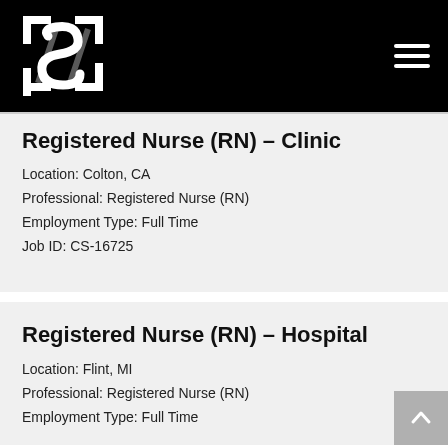[Figure (logo): Company logo with stylized S letter in white on black background, with hamburger menu icon top right]
Registered Nurse (RN) – Clinic
Location: Colton, CA
Professional: Registered Nurse (RN)
Employment Type: Full Time
Job ID: CS-16725
Registered Nurse (RN) – Hospital
Location: Flint, MI
Professional: Registered Nurse (RN)
Employment Type: Full Time